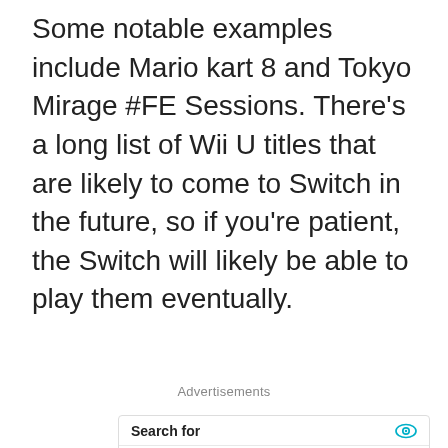Some notable examples include Mario kart 8 and Tokyo Mirage #FE Sessions. There's a long list of Wii U titles that are likely to come to Switch in the future, so if you're patient, the Switch will likely be able to play them eventually.
Advertisements
[Figure (other): Advertisement widget: Search for - Get The Best Eye Wrinkle Serum (01), Top Dental Implant Marketing (02). Yahoo! Search | Sponsored]